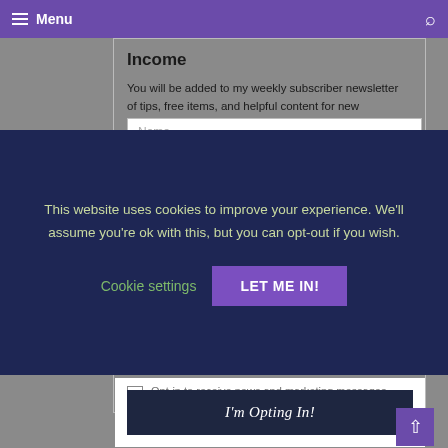Menu
Income
You will be added to my weekly subscriber newsletter of tips, free items, and helpful content for new bloggers.
This website uses cookies to improve your experience. We'll assume you're ok with this, but you can opt-out if you wish.
Cookie settings
LET ME IN!
Opt-in to receive news and marketing messages. Unsubscribe anytime.
I'm Opting In!